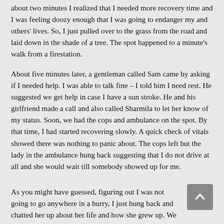about two minutes I realized that I needed more recovery time and I was feeling doozy enough that I was going to endanger my and others' lives. So, I just pulled over to the grass from the road and laid down in the shade of a tree. The spot happened to a minute's walk from a firestation.
About five minutes later, a gentleman called Sam came by asking if I needed help. I was able to talk fine – I told him I need rest. He suggested we get help in case I have a sun stroke. He and his girlfriend made a call and also called Sharmila to let her know of my status. Soon, we had the cops and ambulance on the spot. By that time, I had started recovering slowly. A quick check of vitals showed there was nothing to panic about. The cops left but the lady in the ambulance hung back suggesting that I do not drive at all and she would wait till somebody showed up for me.
As you might have guessed, figuring out I was not going to go anywhere in a hurry, I just hung back and chatted her up about her life and how she grew up. We talked about the business